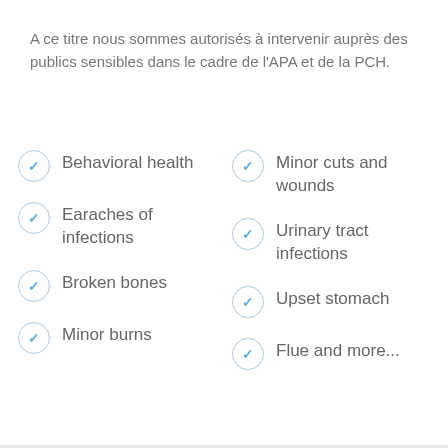A ce titre nous sommes autorisés à intervenir auprès des publics sensibles dans le cadre de l'APA et de la PCH.
Behavioral health
Earaches of infections
Broken bones
Minor burns
Minor cuts and wounds
Urinary tract infections
Upset stomach
Flue and more...